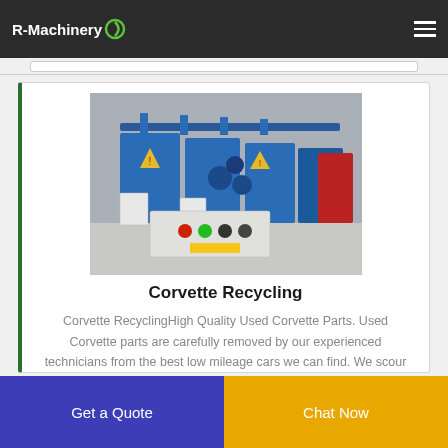R-Machinery
[Figure (photo): Blue industrial recycling/wire processing machines lined up in a factory, with white electrical control boxes and a control panel with red, green, and black buttons in the foreground.]
Corvette Recycling
Corvette RecyclingHigh Quality Used Corvette Parts. Used Corvette parts are carefully removed by our experienced technicians from the best low mileage cars we can find. We scour the market and salvage auctions for the lowest mileage
Get a Quote
Chat Now